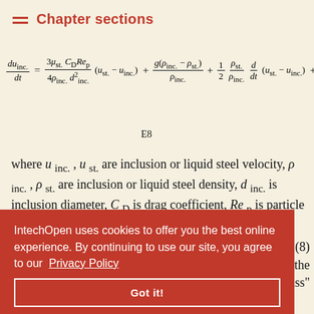Chapter sections
E8
where u_inc., u_st. are inclusion or liquid steel velocity, ρ_inc., ρ_st. are inclusion or liquid steel density, d_inc. is inclusion diameter, C_D is drag coefficient, Re_p is particle Reynolds number, g is gravitational constant, μ is molecular viscosity of the liquid ... equation (8) ... m the ... ual mass" force and the last one an additional force arising due